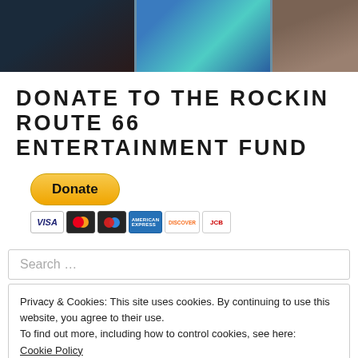[Figure (photo): Strip of three thumbnail images at top: dark image on left, colorful gaming/tech image in center, stacked plates/books on right, against a teal-gray background.]
DONATE TO THE ROCKIN ROUTE 66 ENTERTAINMENT FUND
[Figure (other): PayPal Donate button (yellow rounded rectangle with bold 'Donate' text) above a row of payment card icons: Visa, Mastercard, an overlapping circle card, American Express, Discover, and JCB.]
Search ...
Privacy & Cookies: This site uses cookies. By continuing to use this website, you agree to their use.
To find out more, including how to control cookies, see here:
Cookie Policy
Close and accept